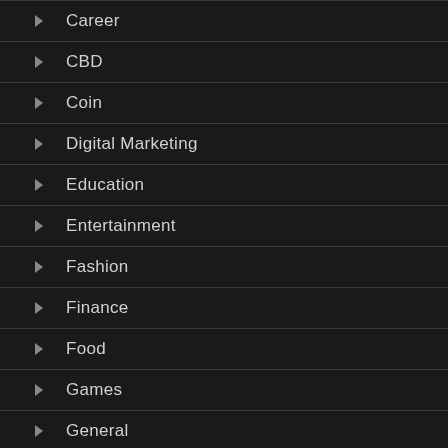Career
CBD
Coin
Digital Marketing
Education
Entertainment
Fashion
Finance
Food
Games
General
Health
Home